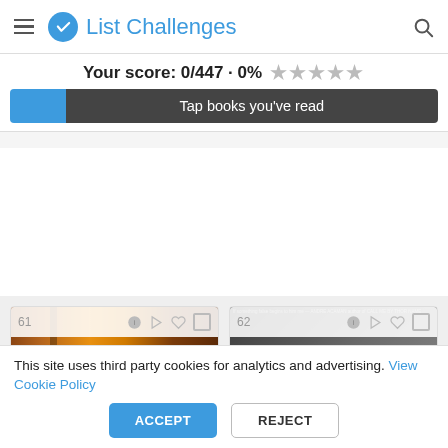List Challenges
Your score: 0/447 · 0% ★★★★★
Tap books you've read
[Figure (screenshot): Book card 61 with orange/brown book cover showing partial text 'Ca...' at bottom]
[Figure (screenshot): Book card 62 with black and white book cover showing text 'Lie']
This site uses third party cookies for analytics and advertising. View Cookie Policy
ACCEPT
REJECT